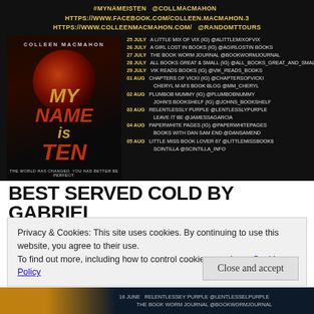[Figure (infographic): Dark book tour banner for 'My Name is Ten' by Colleen MacMahon. Top shows social media links in yellow text. Left side shows book cover with dragon eye imagery. Right side is a tour schedule listing dates in July and August with blog names and Instagram handles.]
BEST SERVED COLD BY GABRIEL
Privacy & Cookies: This site uses cookies. By continuing to use this website, you agree to their use.
To find out more, including how to control cookies, see here: Cookie Policy
Close and accept
[Figure (screenshot): Partial view of another book tour schedule at the bottom, dark background, showing '16 JUNE RELENTLESSLY PURPLE @LENTLESSELPURPLE' and 'THE BOOK WORM JOURNAL @BOOKWORMJOURNAL']